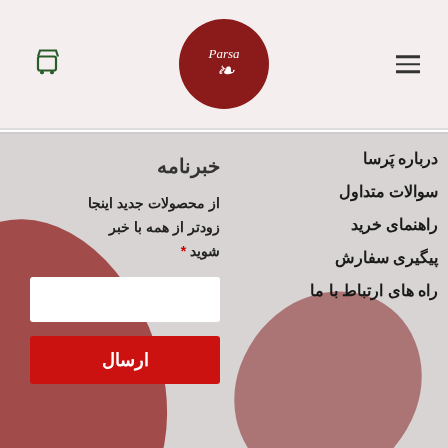Parsa logo header with cart and menu icons
خبرنامه
از محصولات جدید اینجا زودتر از همه با خبر شوید *
درباره پَرسا
سوالات متداول
راهنمای خرید
پیگیری سفارش
راه های ارتباط با ما